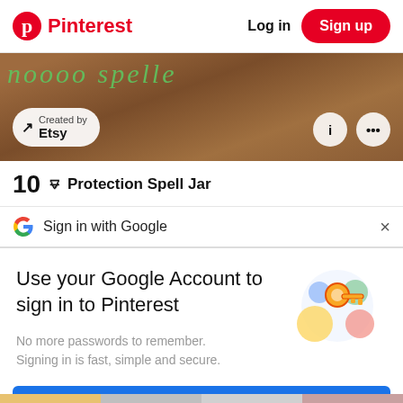Pinterest  Log in  Sign up
[Figure (screenshot): Pinterest pin image showing wooden spice jars with green handwritten text overlay, with 'Created by Etsy' badge and info/more buttons]
10 🜃 Protection Spell Jar
G  Sign in with Google  ×
Use your Google Account to sign in to Pinterest
No more passwords to remember. Signing in is fast, simple and secure.
[Figure (illustration): Google sign-in illustration with a golden key and colorful circles]
Continue